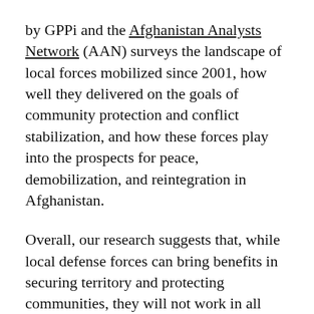by GPPi and the Afghanistan Analysts Network (AAN) surveys the landscape of local forces mobilized since 2001, how well they delivered on the goals of community protection and conflict stabilization, and how these forces play into the prospects for peace, demobilization, and reintegration in Afghanistan.
Overall, our research suggests that, while local defense forces can bring benefits in securing territory and protecting communities, they will not work in all areas. Despite some recognition of the risk of co-option at the outset, pressure to roll the ALP out in areas where it was not appropriate, as well as failure to develop it slowly enough to enable meaningful institutional or community controls, led to